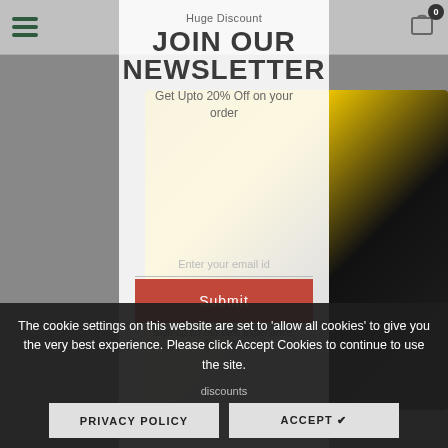[Figure (screenshot): Website screenshot showing a gray background with a yellow excavator/mini digger machine visible behind a modal popup. Navigation bar at top with hamburger menu and cart icon.]
Huge Discount
JOIN OUR NEWSLETTER
Get Upto 20% Off on your order
Enter your email id
Submit
Sign up for our best experience. discounts
The cookie settings on this website are set to 'allow all cookies' to give you the very best experience. Please click Accept Cookies to continue to use the site.
discounts
PRIVACY POLICY
ACCEPT ✔